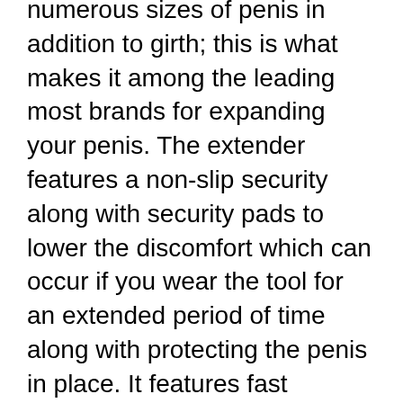numerous sizes of penis in addition to girth; this is what makes it among the leading most brands for expanding your penis. The extender features a non-slip security along with security pads to lower the discomfort which can occur if you wear the tool for an extended period of time along with protecting the penis in place. It features fast production of new cells making the augmentation procedure much quicker.
Bent penis syndrome: This is a medical disease of the curvature of the penis which can cause several degrees of pain influencing an individual's self-esteem on a whole. The Bent Penis disorder or likewise known as Peyronies can definitely be boosted by utilizing SizeGenetics. The device